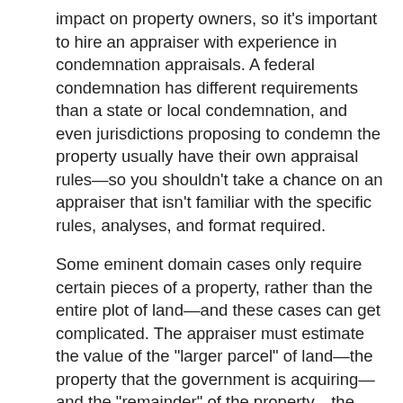impact on property owners, so it's important to hire an appraiser with experience in condemnation appraisals. A federal condemnation has different requirements than a state or local condemnation, and even jurisdictions proposing to condemn the property usually have their own appraisal rules—so you shouldn't take a chance on an appraiser that isn't familiar with the specific rules, analyses, and format required.
Some eminent domain cases only require certain pieces of a property, rather than the entire plot of land—and these cases can get complicated. The appraiser must estimate the value of the "larger parcel" of land—the property that the government is acquiring—and the "remainder" of the property—the property that the current owner will keep after the condemnation. Because a large, continuous plot of land typically has a higher value per square foot than a small piece of land wedged between two occupied plots, estimating the value can be tricky. In other cases, the current owner of the eminent domain property still has rights or partial rights to use the land, which can also muddle the valuation process. Each of these scenarios requires the expertise of a seasoned appraiser that's familiar with how government acquisitions affect property